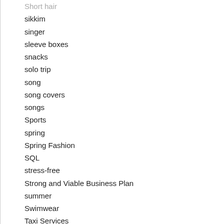Short hair
sikkim
singer
sleeve boxes
snacks
solo trip
song
song covers
songs
Sports
spring
Spring Fashion
SQL
stress-free
Strong and Viable Business Plan
summer
Swimwear
Taxi Services
Tech
Techno
Technology
telecom